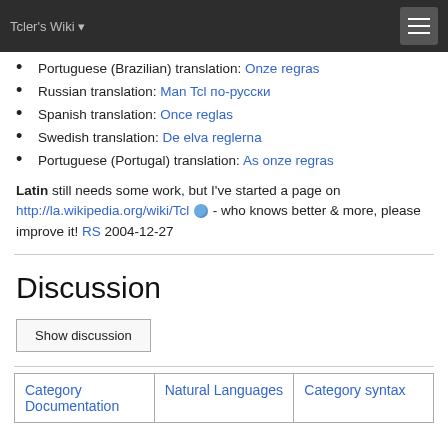Tcler's Wiki
Portuguese (Brazilian) translation: Onze regras
Russian translation: Man Tcl по-русски
Spanish translation: Once reglas
Swedish translation: De elva reglerna
Portuguese (Portugal) translation: As onze regras
Latin still needs some work, but I've started a page on http://la.wikipedia.org/wiki/Tcl 🌐 - who knows better & more, please improve it! RS 2004-12-27
Discussion
Show discussion
| Category Documentation | Natural Languages | Category syntax |